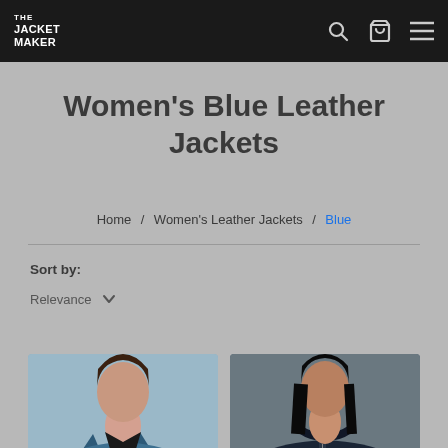THE JACKET MAKER
Women's Blue Leather Jackets
Home / Women's Leather Jackets / Blue
Sort by:
Relevance
[Figure (photo): Woman wearing a blue leather biker jacket, cropped at torso]
[Figure (photo): Woman wearing a dark navy leather bomber jacket with zipper, cropped at torso]